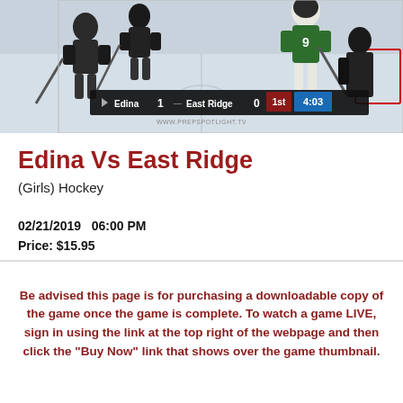[Figure (screenshot): Hockey game screenshot showing players on ice with scoreboard overlay: Edina 1, East Ridge 0, 1st period, 4:03 remaining]
Edina Vs East Ridge
(Girls) Hockey
02/21/2019   06:00 PM
Price: $15.95
Be advised this page is for purchasing a downloadable copy of the game once the game is complete. To watch a game LIVE, sign in using the link at the top right of the webpage and then click the "Buy Now" link that shows over the game thumbnail.